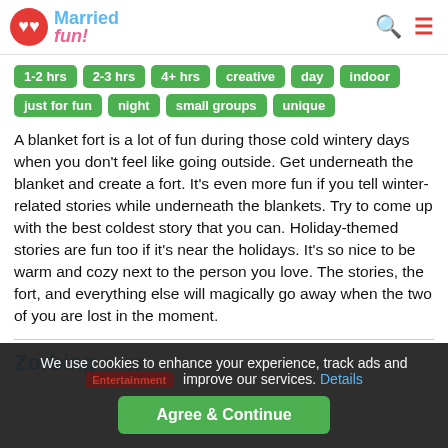Married fun!
1-2 hrs
2-3 hrs
4+ hrs
creative
day
indoor
just for fun
night
small groups
unique
A blanket fort is a lot of fun during those cold wintery days when you don't feel like going outside. Get underneath the blanket and create a fort. It's even more fun if you tell winter-related stories while underneath the blankets. Try to come up with the best coldest story that you can. Holiday-themed stories are fun too if it's near the holidays. It's so nice to be warm and cozy next to the person you love. The stories, the fort, and everything else will magically go away when the two of you are lost in the moment.
Zorbing $ $$
We use cookies to enhance your experience, track ads and improve our services. Details